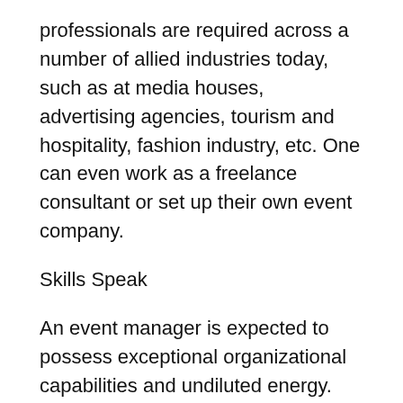professionals are required across a number of allied industries today, such as at media houses, advertising agencies, tourism and hospitality, fashion industry, etc. One can even work as a freelance consultant or set up their own event company.
Skills Speak
An event manager is expected to possess exceptional organizational capabilities and undiluted energy. Also, very event is essentially a team effort hence an event professional must be a people's person an know how to get work done on time from everyone – from the internal team to external vendors. Long working hours and immense pressure are part of the job. An event professional has to be a good crisis manager. Ability to make quick decisions